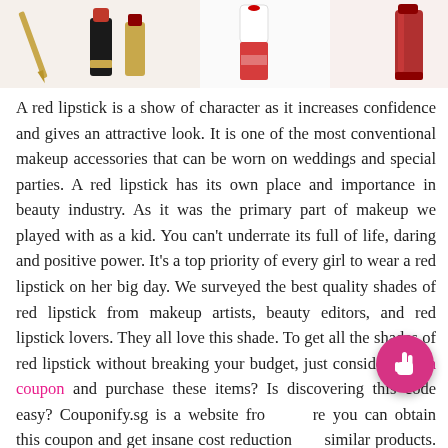[Figure (photo): Three lipstick product photos across the top of the page: on the left a black and gold lipstick tube with a gold pen, in the center a red lipstick with white/clear packaging, on the right a red lipstick tube against a light background.]
A red lipstick is a show of character as it increases confidence and gives an attractive look. It is one of the most conventional makeup accessories that can be worn on weddings and special parties. A red lipstick has its own place and importance in beauty industry. As it was the primary part of makeup we played with as a kid. You can't underrate its full of life, daring and positive power. It's a top priority of every girl to wear a red lipstick on her big day. We surveyed the best quality shades of red lipstick from makeup artists, beauty editors, and red lipstick lovers. They all love this shade. To get all the shades of red lipstick without breaking your budget, just consider lazada coupon and purchase these items? Is discovering this code easy? Couponify.sg is a website from where you can obtain this coupon and get insane cost reduction on similar products. Here is the list of best red lipsticks: